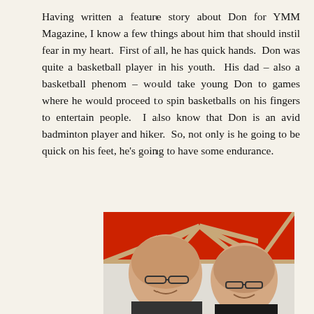Having written a feature story about Don for YMM Magazine, I know a few things about him that should instil fear in my heart.  First of all, he has quick hands.  Don was quite a basketball player in his youth.  His dad – also a basketball phenom – would take young Don to games where he would proceed to spin basketballs on his fingers to entertain people.  I also know that Don is an avid badminton player and hiker.  So, not only is he going to be quick on his feet, he's going to have some endurance.
[Figure (photo): Two bald men wearing glasses smiling under a large red tent/canopy structure, taking a selfie-style photo outdoors.]